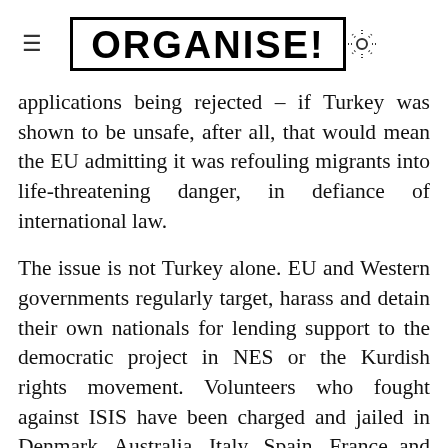ORGANISE!
applications being rejected – if Turkey was shown to be unsafe, after all, that would mean the EU admitting it was refouling migrants into life-threatening danger, in defiance of international law.
The issue is not Turkey alone. EU and Western governments regularly target, harass and detain their own nationals for lending support to the democratic project in NES or the Kurdish rights movement. Volunteers who fought against ISIS have been charged and jailed in Denmark, Australia, Italy, Spain, France and my own home country, the UK. Danes and Australians can be